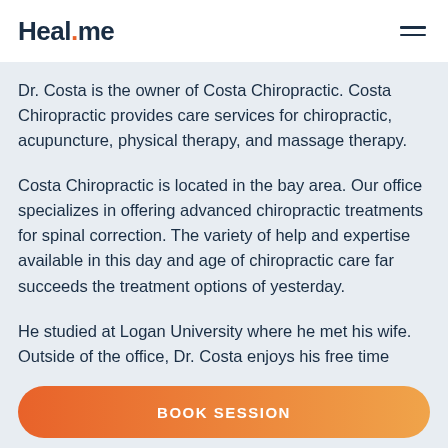Heal.me
Dr. Costa is the owner of Costa Chiropractic. Costa Chiropractic provides care services for chiropractic, acupuncture, physical therapy, and massage therapy.
Costa Chiropractic is located in the bay area. Our office specializes in offering advanced chiropractic treatments for spinal correction. The variety of help and expertise available in this day and age of chiropractic care far succeeds the treatment options of yesterday.
He studied at Logan University where he met his wife. Outside of the office, Dr. Costa enjoys his free time
BOOK SESSION